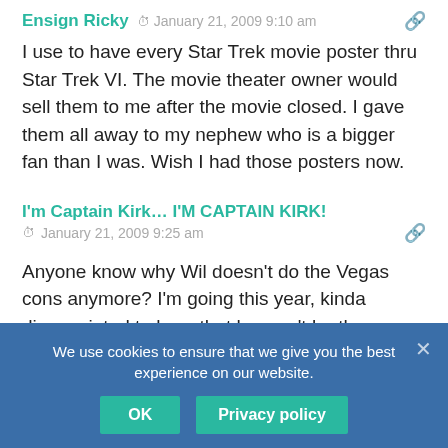Ensign Ricky  January 21, 2009 9:10 am
I use to have every Star Trek movie poster thru Star Trek VI. The movie theater owner would sell them to me after the movie closed. I gave them all away to my nephew who is a bigger fan than I was. Wish I had those posters now.
I'm Captain Kirk... I'M CAPTAIN KIRK!  January 21, 2009 9:25 am
Anyone know why Wil doesn't do the Vegas cons anymore? I'm going this year, kinda disappointed to hear that he won't be there.
"I never thought much of the idea that families should be aboard the Enterp... that exploration of the 'final frontier' is too dangerous..."
We use cookies to ensure that we give you the best experience on our website.